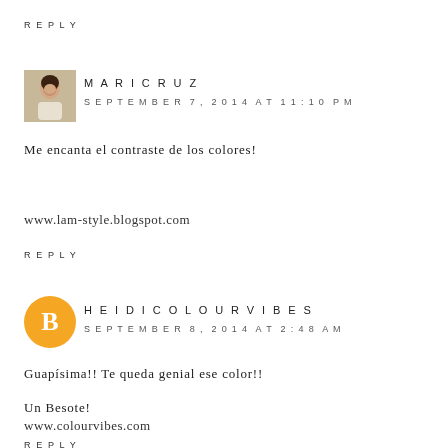REPLY
[Figure (photo): Small avatar photo of Maricruz, a woman in a light-colored outfit outdoors]
MARICRUZ
SEPTEMBER 7, 2014 AT 11:10 PM
Me encanta el contraste de los colores!
www.lam-style.blogspot.com
REPLY
[Figure (logo): Orange circle with white Blogger 'B' logo icon]
HEIDICOLOURVIBES
SEPTEMBER 8, 2014 AT 2:48 AM
Guapísima!! Te queda genial ese color!!
Un Besote!
www.colourvibes.com
REPLY